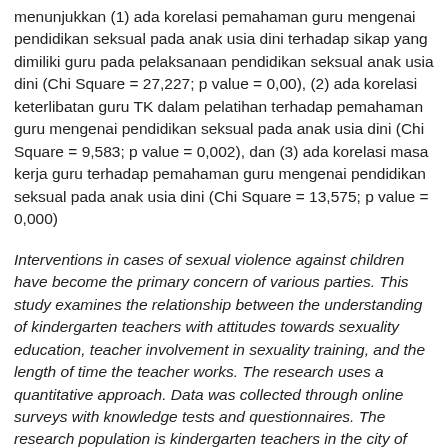menunjukkan (1) ada korelasi pemahaman guru mengenai pendidikan seksual pada anak usia dini terhadap sikap yang dimiliki guru pada pelaksanaan pendidikan seksual anak usia dini (Chi Square = 27,227; p value = 0,00), (2) ada korelasi keterlibatan guru TK dalam pelatihan terhadap pemahaman guru mengenai pendidikan seksual pada anak usia dini (Chi Square = 9,583; p value = 0,002), dan (3) ada korelasi masa kerja guru terhadap pemahaman guru mengenai pendidikan seksual pada anak usia dini (Chi Square = 13,575; p value = 0,000)
Interventions in cases of sexual violence against children have become the primary concern of various parties. This study examines the relationship between the understanding of kindergarten teachers with attitudes towards sexuality education, teacher involvement in sexuality training, and the length of time the teacher works. The research uses a quantitative approach. Data was collected through online surveys with knowledge tests and questionnaires. The research population is kindergarten teachers in the city of Semarang. The research sample involved 126 kindergarten